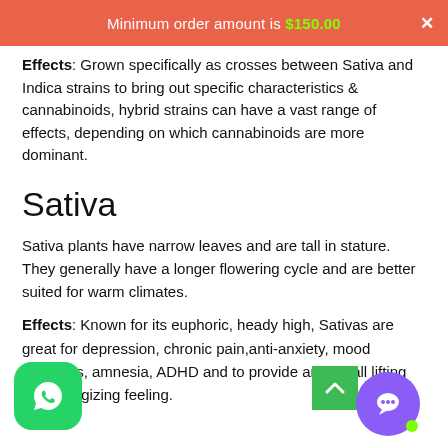Minimum order amount is $150.00
Effects: Grown specifically as crosses between Sativa and Indica strains to bring out specific characteristics & cannabinoids, hybrid strains can have a vast range of effects, depending on which cannabinoids are more dominant.
Sativa
Sativa plants have narrow leaves and are tall in stature. They generally have a longer flowering cycle and are better suited for warm climates.
Effects: Known for its euphoric, heady high, Sativas are great for depression, chronic pain,anti-anxiety, mood disorders, amnesia, ADHD and to provide an overall lifting and energizing feeling.